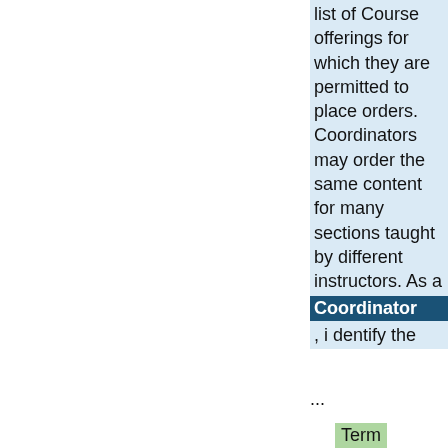list of Course offerings for which they are permitted to place orders. Coordinators may order the same content for many sections taught by different instructors. As a Coordinator, identify the
...
Term